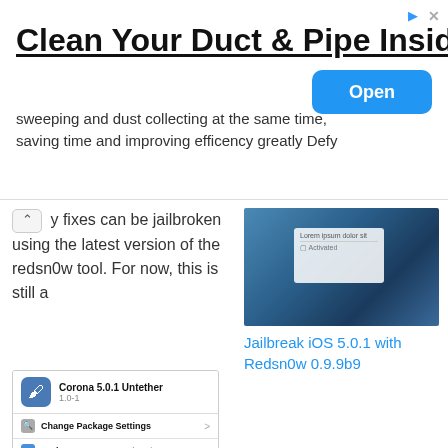[Figure (infographic): Advertisement banner: 'Clean Your Duct & Pipe Inside' with Open button]
y fixes can be jailbroken using the latest version of the redsn0w tool. For now, this is still a
[Figure (screenshot): Screenshot of a Mac OS X desktop with a dialog box overlay, underwater themed background]
Jailbreak iOS 5.0.1 with Redsn0w 0.9.9b9
[Figure (screenshot): Corona 5.0.1 Untether package screen showing version 1.0-1, Change Package Settings and Author: Chronic-Dev Team rows]
Untether an Existing Tethered iOS 5.0.1 Jailbreak with Corona